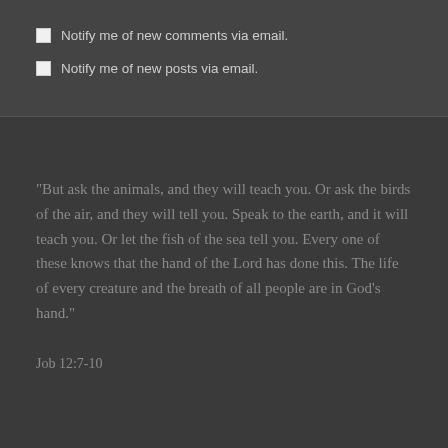Notify me of new comments via email.
Notify me of new posts via email.
“But ask the animals, and they will teach you. Or ask the birds of the air, and they will tell you. Speak to the earth, and it will teach you. Or let the fish of the sea tell you. Every one of these knows that the hand of the Lord has done this. The life of every creature and the breath of all people are in God’s hand.”
Job 12:7-10